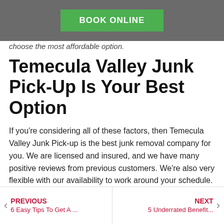BOOK ONLINE
choose the most affordable option.
Temecula Valley Junk Pick-Up Is Your Best Option
If you're considering all of these factors, then Temecula Valley Junk Pick-up is the best junk removal company for you. We are licensed and insured, and we have many positive reviews from previous customers. We're also very flexible with our availability to work around your schedule. Contact us today for a free quote!
GET IN TOUCH
PREVIOUS 6 Easy Tips To Get A ... | NEXT 5 Underrated Benefit...